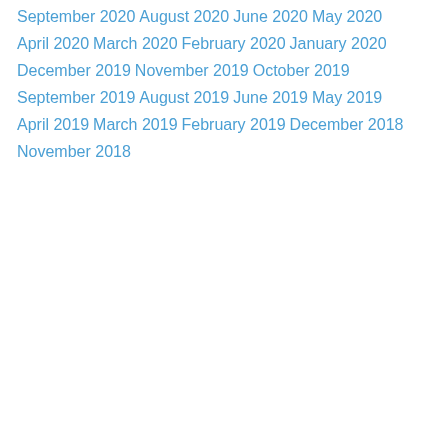September 2020
August 2020
June 2020
May 2020
April 2020
March 2020
February 2020
January 2020
December 2019
November 2019
October 2019
September 2019
August 2019
June 2019
May 2019
April 2019
March 2019
February 2019
December 2018
November 2018